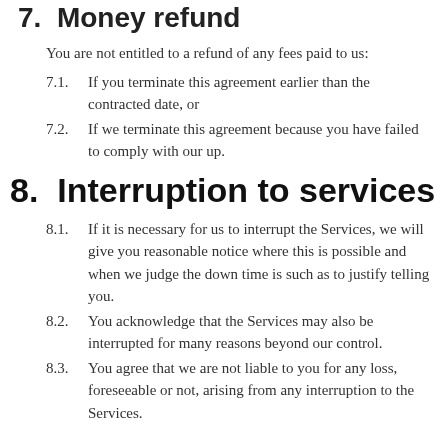7.  Money refund
You are not entitled to a refund of any fees paid to us:
7.1.  If you terminate this agreement earlier than the contracted date, or
7.2.  If we terminate this agreement because you have failed to comply with our up.
8.  Interruption to services
8.1.  If it is necessary for us to interrupt the Services, we will give you reasonable notice where this is possible and when we judge the down time is such as to justify telling you.
8.2.  You acknowledge that the Services may also be interrupted for many reasons beyond our control.
8.3.  You agree that we are not liable to you for any loss, foreseeable or not, arising from any interruption to the Services.